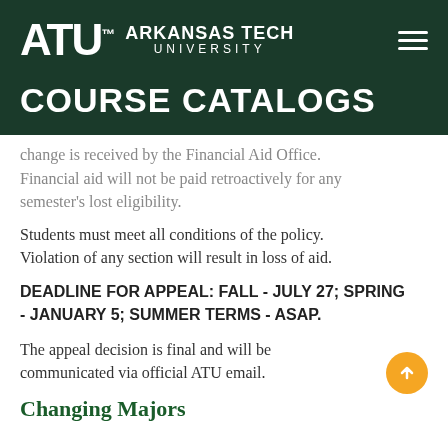[Figure (logo): Arkansas Tech University logo with ATU letters and hamburger menu on dark green background]
COURSE CATALOGS
change is received by the Financial Aid Office. Financial aid will not be paid retroactively for any semester's lost eligibility.
Students must meet all conditions of the policy. Violation of any section will result in loss of aid.
DEADLINE FOR APPEAL: FALL - JULY 27; SPRING - JANUARY 5; SUMMER TERMS - ASAP.
The appeal decision is final and will be communicated via official ATU email.
Changing Majors